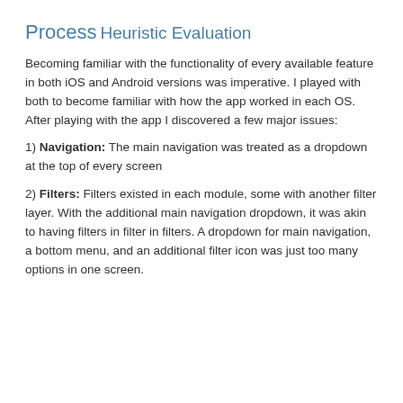Process
Heuristic Evaluation
Becoming familiar with the functionality of every available feature in both iOS and Android versions was imperative. I played with both to become familiar with how the app worked in each OS. After playing with the app I discovered a few major issues:
1) Navigation: The main navigation was treated as a dropdown at the top of every screen
2) Filters: Filters existed in each module, some with another filter layer. With the additional main navigation dropdown, it was akin to having filters in filter in filters. A dropdown for main navigation, a bottom menu, and an additional filter icon was just too many options in one screen.